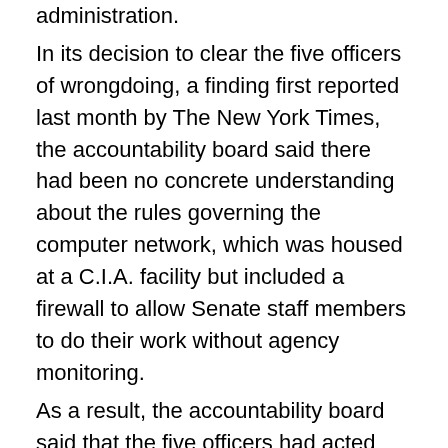administration.
In its decision to clear the five officers of wrongdoing, a finding first reported last month by The New York Times, the accountability board said there had been no concrete understanding about the rules governing the computer network, which was housed at a C.I.A. facility but included a firewall to allow Senate staff members to do their work without agency monitoring.
As a result, the accountability board said that the five officers had acted reasonably in carrying out a search in response to what they considered to be a security breach.
“The board noted the difficulty of identifying the most appropriate, reasonable, proper course of action for this security incident because nearly every such course is open to objection or question,” the panel’s report concluded.
Senator Dianne Feinstein, the California Democrat who